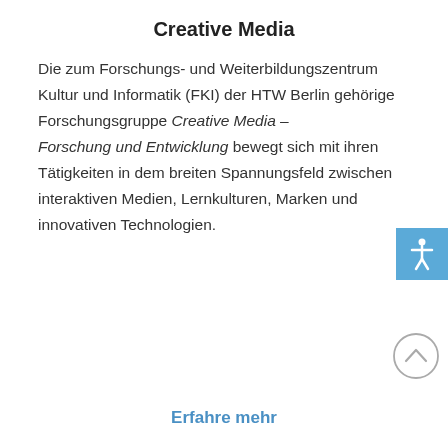Creative Media
Die zum Forschungs- und Weiterbildungszentrum Kultur und Informatik (FKI) der HTW Berlin gehörige Forschungsgruppe Creative Media – Forschung und Entwicklung bewegt sich mit ihren Tätigkeiten in dem breiten Spannungsfeld zwischen interaktiven Medien, Lernkulturen, Marken und innovativen Technologien.
Erfahre mehr